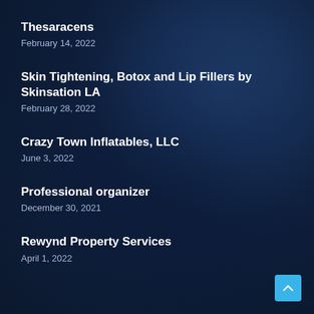Thesaracens
February 14, 2022
Skin Tightening, Botox and Lip Fillers by Skinsation LA
February 28, 2022
Crazy Town Inflatables, LLC
June 3, 2022
Professional organizer
December 30, 2021
Rewynd Property Services
April 1, 2022